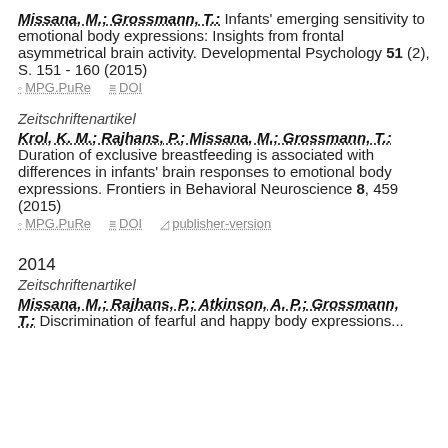Missana, M.; Grossmann, T.: Infants' emerging sensitivity to emotional body expressions: Insights from frontal asymmetrical brain activity. Developmental Psychology 51 (2), S. 151 - 160 (2015)
⊘ MPG.PuRe   ≡ DOI
Zeitschriftenartikel
Krol, K. M.; Rajhans, P.; Missana, M.; Grossmann, T.: Duration of exclusive breastfeeding is associated with differences in infants' brain responses to emotional body expressions. Frontiers in Behavioral Neuroscience 8, 459 (2015)
⊘ MPG.PuRe   ≡ DOI   □ publisher-version
2014
Zeitschriftenartikel
Missana, M.; Rajhans, P.; Atkinson, A. P.; Grossmann, T.: Discrimination of fearful and happy body expressions...